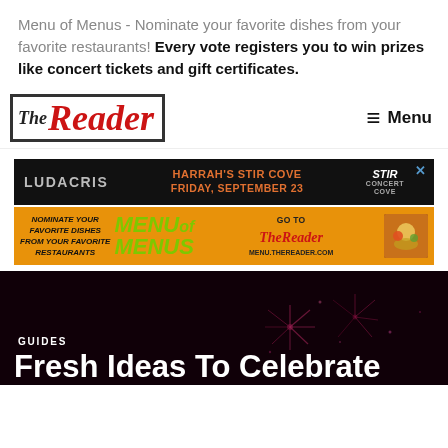Menu of Menus - Nominate your favorite dishes from your favorite restaurants! Every vote registers you to win prizes like concert tickets and gift certificates.
[Figure (logo): The Reader newspaper logo - stylized text reading 'TheReader' with The in black serif and Reader in red italic serif]
≡ Menu
[Figure (infographic): Ludacris concert advertisement: black background, LUDACRIS text on left, HARRAH'S STIR COVE FRIDAY, SEPTEMBER 23 in orange center, Stir Cove logo on right, X close button]
[Figure (infographic): Menu of Menus advertisement: orange background, nominate your favorite dishes text, MENU of MENUS in green, TheReader logo, GO TO MENU.THEREADER.COM, food image on right]
GUIDES
Fresh Ideas To Celebrate